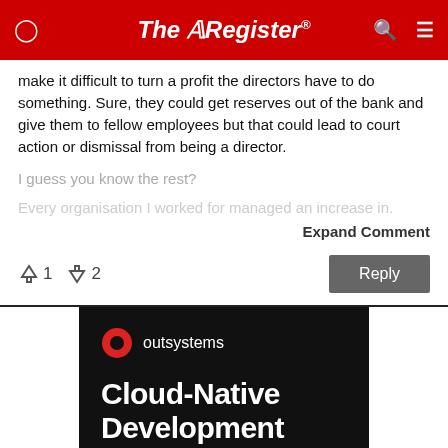The Register
make it difficult to turn a profit the directors have to do something. Sure, they could get reserves out of the bank and give them to fellow employees but that could lead to court action or dismissal from being a director.
I guess you know the rest?
Every organisation I worked for managed an increase in.
Expand Comment
↑1  ↓2
Reply
[Figure (infographic): OutSystems advertisement banner on black background with red circle logo and text 'Cloud-Native Development']